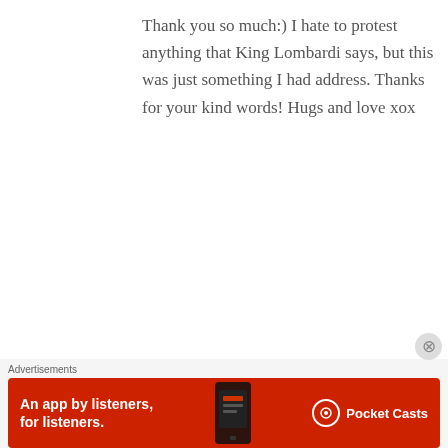Thank you so much:) I hate to protest anything that King Lombardi says, but this was just something I had address. Thanks for your kind words! Hugs and love xox
★ Like
Reply
Jackie F. says:
September 23, 2016 at 7:37 pm
Advertisements
[Figure (illustration): Red Pocket Casts advertisement banner: 'An app by listeners, for listeners.' with phone graphic and Pocket Casts logo on red background]